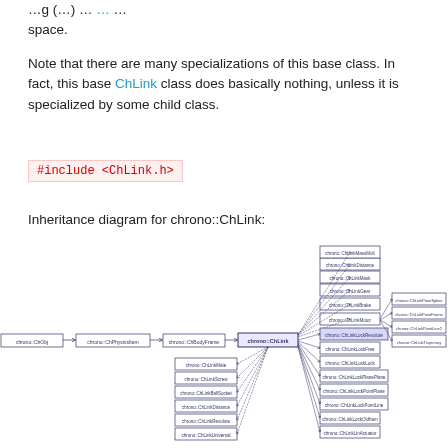…ing (…) … space.
Note that there are many specializations of this base class. In fact, this base ChLink class does basically nothing, unless it is specialized by some child class.
Inheritance diagram for chrono::ChLink:
[Figure (other): Inheritance diagram for chrono::ChLink showing class hierarchy with chrono::ChObj -> chrono::ChPhysicsItem -> chrono::ChBodyFrame -> chrono::ChLink at center, with many child classes branching out including chrono::ChLinkMotor, chrono::ChLinkGear, chrono::ChLinkMask, chrono::ChLinkLockRevolute, chrono::ChLinkLockFree, chrono::ChLinkMassMult, chrono::ChLinkLockLock, chrono::ChLinkLockPlanePlane, chrono::ChLinkLockPointPlane, chrono::ChLinkLockPointLine, chrono::ChLinkBrake, chrono::ChLinkLinActuator, chrono::ChLinkBallSocket, chrono::ChLinkLockOldham, chrono::ChLinkDistance, and many more.]